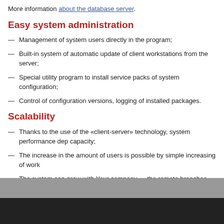More information about the database server.
Easy system administration
Management of system users directly in the program;
Built-in system of automatic update of client workstations from the server;
Special utility program to install service packs of system configuration;
Control of configuration versions, logging of installed packages.
Scalability
Thanks to the use of the «client-server» technology, system performance dep... capacity;
The increase in the amount of users is possible by simple increasing of work...
The system can grow with Your company — the remote branches can be eas... system.
Learn more about the different installation variants of the system.